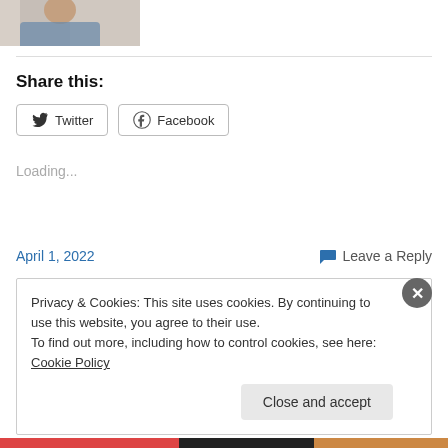[Figure (photo): Partial photo of a person at top left, cropped]
Share this:
Twitter  Facebook
Loading...
April 1, 2022
Leave a Reply
Privacy & Cookies: This site uses cookies. By continuing to use this website, you agree to their use.
To find out more, including how to control cookies, see here: Cookie Policy
Close and accept